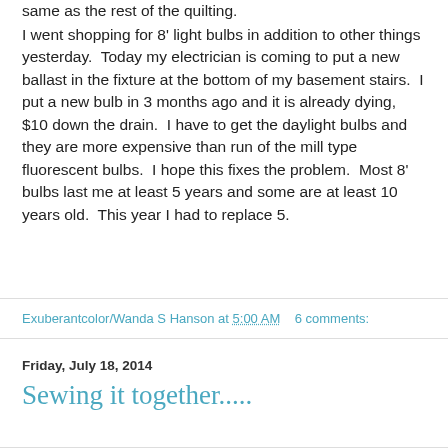same as the rest of the quilting.
I went shopping for 8' light bulbs in addition to other things yesterday.  Today my electrician is coming to put a new ballast in the fixture at the bottom of my basement stairs.  I put a new bulb in 3 months ago and it is already dying, $10 down the drain.  I have to get the daylight bulbs and they are more expensive than run of the mill type fluorescent bulbs.  I hope this fixes the problem.  Most 8' bulbs last me at least 5 years and some are at least 10 years old.  This year I had to replace 5.
Exuberantcolor/Wanda S Hanson at 5:00 AM    6 comments:
Friday, July 18, 2014
Sewing it together.....